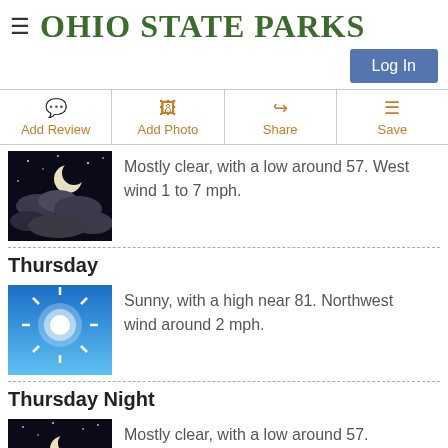OHIO STATE PARKS
Log In
Add Review
Add Photo
Share
Save
[Figure (illustration): Night sky with moon and clouds — mostly clear night weather icon]
Mostly clear, with a low around 57. West wind 1 to 7 mph.
Thursday
[Figure (illustration): Sunny blue sky with bright sun — sunny daytime weather icon]
Sunny, with a high near 81. Northwest wind around 2 mph.
Thursday Night
[Figure (illustration): Night sky with moon and clouds — mostly clear night weather icon]
Mostly clear, with a low around 57. Northeast wind around 2 mph.